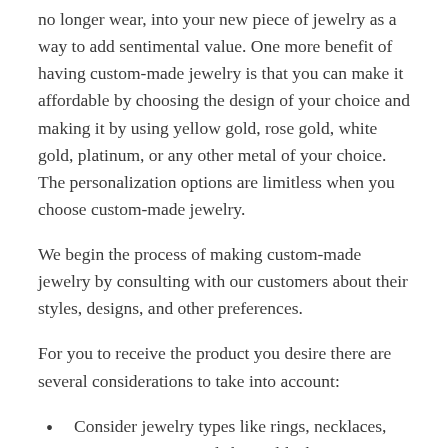no longer wear, into your new piece of jewelry as a way to add sentimental value. One more benefit of having custom-made jewelry is that you can make it affordable by choosing the design of your choice and making it by using yellow gold, rose gold, white gold, platinum, or any other metal of your choice. The personalization options are limitless when you choose custom-made jewelry.
We begin the process of making custom-made jewelry by consulting with our customers about their styles, designs, and other preferences.
For you to receive the product you desire there are several considerations to take into account:
Consider jewelry types like rings, necklaces, earrings, etc, general shapes like button or cluster earrings, or round or rectangular pendants.
It is important to take into account the type of metal the wearer prefers, such as platinum, gold,